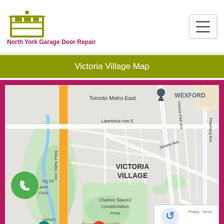[Figure (logo): North York Garage Door Repair logo — garage door icon in olive/green color]
North York Garage Door Repair
Victoria Village Map
[Figure (map): Google Maps screenshot showing Victoria Village neighborhood in Toronto, with Don Valley Pkwy on the left, Lawrence Ave E, Sloane Ave, Victoria Park Ave, Pharmacy Ave, WEXFORD label top right, Charles Sauriol Conservation Area, Walmart, Toronto Don Valley, museum icon, phone call button, reCAPTCHA overlay]